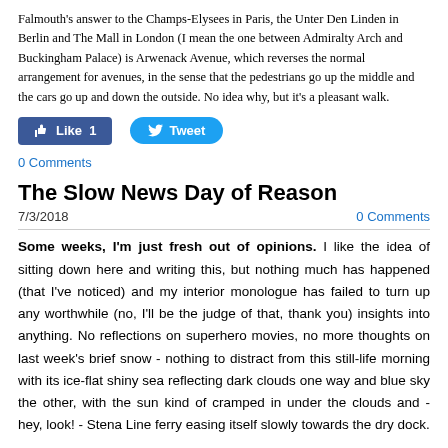Falmouth's answer to the Champs-Elysees in Paris, the Unter Den Linden in Berlin and The Mall in London (I mean the one between Admiralty Arch and Buckingham Palace) is Arwenack Avenue, which reverses the normal arrangement for avenues, in the sense that the pedestrians go up the middle and the cars go up and down the outside. No idea why, but it's a pleasant walk.
[Figure (screenshot): Social sharing buttons: Facebook Like (count 1) and Twitter Tweet]
0 Comments
The Slow News Day of Reason
7/3/2018   0 Comments
Some weeks, I'm just fresh out of opinions. I like the idea of sitting down here and writing this, but nothing much has happened (that I've noticed) and my interior monologue has failed to turn up any worthwhile (no, I'll be the judge of that, thank you) insights into anything. No reflections on superhero movies, no more thoughts on last week's brief snow - nothing to distract from this still-life morning with its ice-flat shiny sea reflecting dark clouds one way and blue sky the other, with the sun kind of cramped in under the clouds and - hey, look! - Stena Line ferry easing itself slowly towards the dry dock.
Went to Sainsbury's last night, in Truro, and there was no milk. Gaps